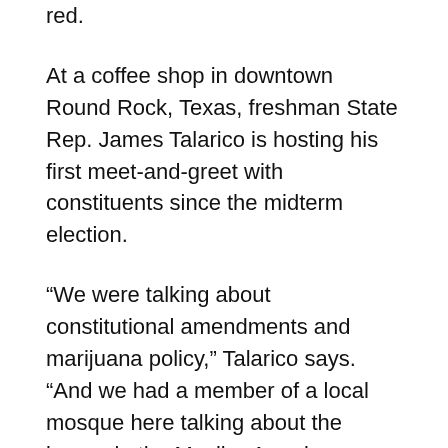being there are showing signs of becoming less red.
At a coffee shop in downtown Round Rock, Texas, freshman State Rep. James Talarico is hosting his first meet-and-greet with constituents since the midterm election.
“We were talking about constitutional amendments and marijuana policy,” Talarico says. “And we had a member of a local mosque here talking about the issues in the Muslim-American communities.”
Though not the youngest lawmaker ever to serve in, at 29 years old, Talarico is currently the youngest member of the Texas legislature. But what may be more notable is that Talarico is a Democrat who was elected in ruby-red